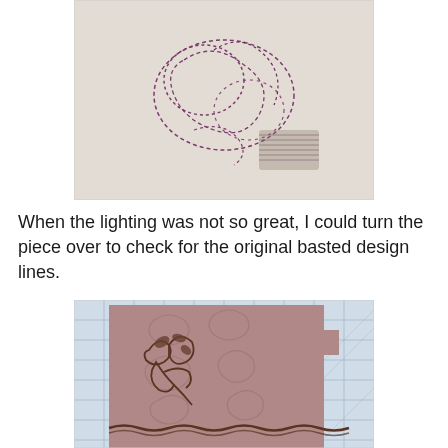[Figure (photo): Close-up photo of the back of an embroidery piece showing purple basted design lines on white fabric]
When the lighting was not so great, I could turn the piece over to check for the original basted design lines.
[Figure (photo): Photo of a mauve/dusty rose fabric piece with brown embroidery and decorative trim lying on a cutting mat with grid markings]